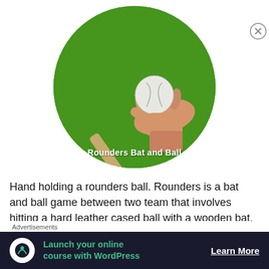[Figure (photo): Circular photo of a hand holding a white rounders ball above a wooden bat, on a green grass background. Caption overlay reads 'Rounders Bat and Ball']
Hand holding a rounders ball. Rounders is a bat and ball game between two team that involves hitting a hard leather cased ball with a wooden bat.
Hand holding a rounders ball. Rounders is a bat and
Advertisements
Launch your online course with WordPress
Learn More